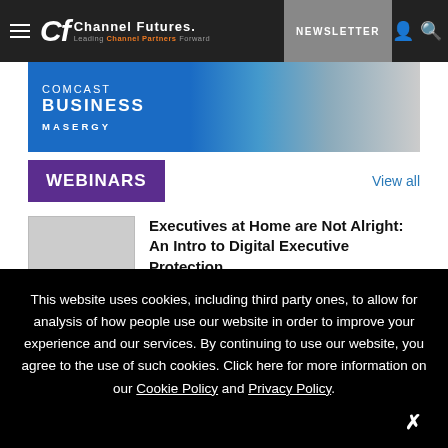Channel Futures — Leading Channel Partners Forward | NEWSLETTER
[Figure (photo): Comcast Business Masergy advertisement banner with blue background and image of laptop/technology]
WEBINARS
View all
Executives at Home are Not Alright: An Intro to Digital Executive Protection
This website uses cookies, including third party ones, to allow for analysis of how people use our website in order to improve your experience and our services. By continuing to use our website, you agree to the use of such cookies. Click here for more information on our Cookie Policy and Privacy Policy.